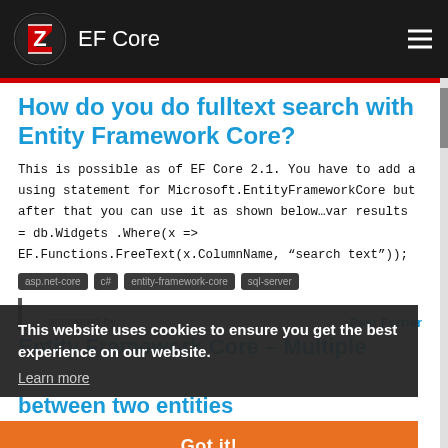EF Core
How do you do fulltext search with Entity Framework Core?
This is possible as of EF Core 2.1. You have to add a using statement for Microsoft.EntityFrameworkCore but after that you can use it as shown below…var results = db.Widgets .Where(x => EF.Functions.FreeText(x.ColumnName, "search text"));
asp.net-core
c#
entity-framework-core
sql-server
answered by Peet Ferrier
Entity Framework Core – Multiple between two entities
This website uses cookies to ensure you get the best experience on our website.
Learn more
Got it!